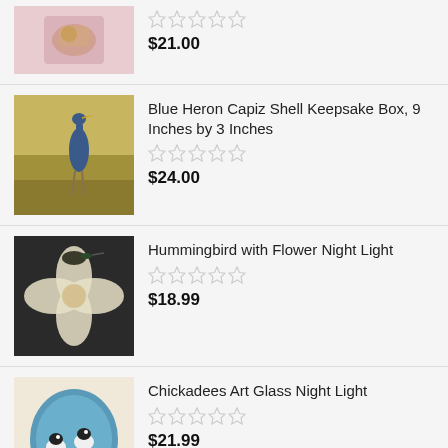[Figure (photo): Partial product image at top, pink/gold jewelry item]
$21.00
[Figure (photo): Blue heron bird standing in grass on yellowish background]
Blue Heron Capiz Shell Keepsake Box, 9 Inches by 3 Inches
$24.00
[Figure (photo): Hummingbird with flower night light, dark background with white flower clover]
Hummingbird with Flower Night Light
$18.99
[Figure (photo): Chickadees art glass night light, blue with birds]
Chickadees Art Glass Night Light
$21.99
Browse by Categories
Angels (4)